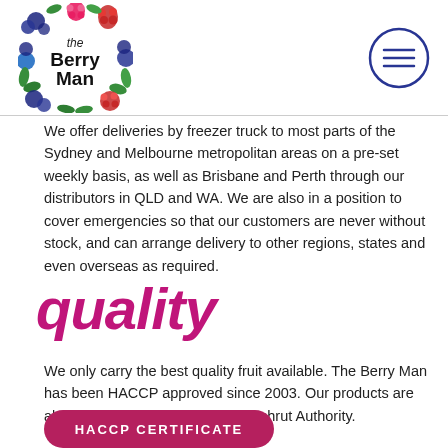[Figure (logo): The Berry Man logo — colorful berries arranged in a square border around the text 'the Berry Man']
[Figure (other): Hamburger menu icon — circle with three horizontal lines]
We offer deliveries by freezer truck to most parts of the Sydney and Melbourne metropolitan areas on a pre-set weekly basis, as well as Brisbane and Perth through our distributors in QLD and WA. We are also in a position to cover emergencies so that our customers are never without stock, and can arrange delivery to other regions, states and even overseas as required.
quality
We only carry the best quality fruit available. The Berry Man has been HACCP approved since 2003. Our products are also certified as Kosher by the Kashrut Authority.
[Figure (other): Dark pink/maroon rounded rectangle button with text 'HACCP CERTIFICATE']